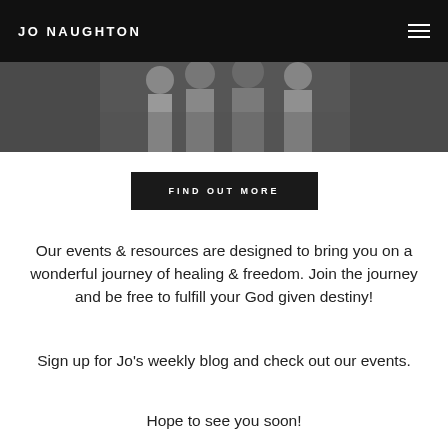JO NAUGHTON
[Figure (photo): Black and white photo of a group of people standing together]
FIND OUT MORE
Our events & resources are designed to bring you on a wonderful journey of healing & freedom. Join the journey and be free to fulfill your God given destiny!
Sign up for Jo's weekly blog and check out our events.
Hope to see you soon!